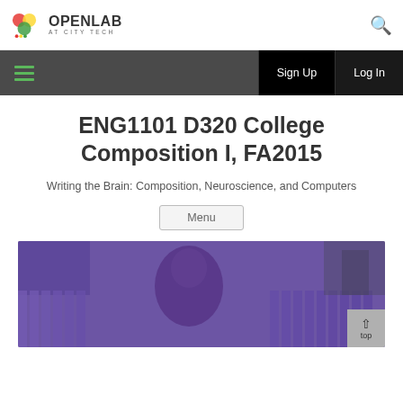[Figure (logo): OpenLab at City Tech logo with colorful circular icon and text]
OpenLab at City Tech — Sign Up | Log In
ENG1101 D320 College Composition I, FA2015
Writing the Brain: Composition, Neuroscience, and Computers
Menu
[Figure (photo): Hero banner image with blue/purple tint overlay showing an outdoor scene with a person and a wooden fence]